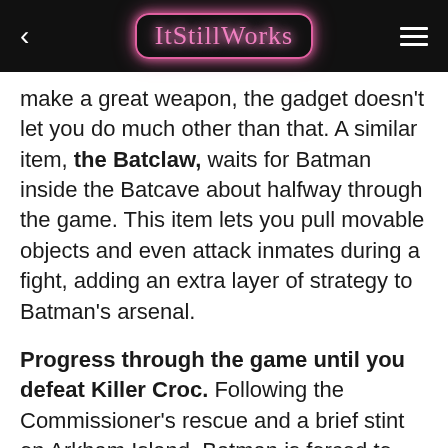ItStillWorks
make a great weapon, the gadget doesn't let you do much other than that. A similar item, the Batclaw, waits for Batman inside the Batcave about halfway through the game. This item lets you pull movable objects and even attack inmates during a fight, adding an extra layer of strategy to Batman's arsenal.
Progress through the game until you defeat Killer Croc. Following the Commissioner's rescue and a brief stint on Arkham Island, Batman is forced to chase down an old foe deep in the sewers. Following this cutscene, Batman returns to Arkham Island to find the Batcave.